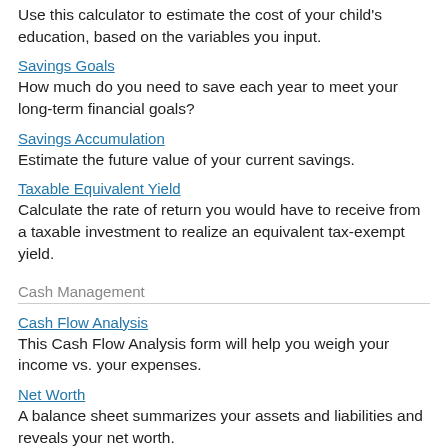Use this calculator to estimate the cost of your child's education, based on the variables you input.
Savings Goals
How much do you need to save each year to meet your long-term financial goals?
Savings Accumulation
Estimate the future value of your current savings.
Taxable Equivalent Yield
Calculate the rate of return you would have to receive from a taxable investment to realize an equivalent tax-exempt yield.
Cash Management
Cash Flow Analysis
This Cash Flow Analysis form will help you weigh your income vs. your expenses.
Net Worth
A balance sheet summarizes your assets and liabilities and reveals your net worth.